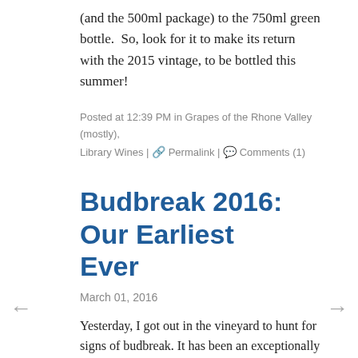(and the 500ml package) to the 750ml green bottle.  So, look for it to make its return with the 2015 vintage, to be bottled this summer!
Posted at 12:39 PM in Grapes of the Rhone Valley (mostly), Library Wines | 🔗 Permalink | 💬 Comments (1)
Budbreak 2016: Our Earliest Ever
March 01, 2016
Yesterday, I got out in the vineyard to hunt for signs of budbreak. It has been an exceptionally warm, sunny February, with weather we'd more